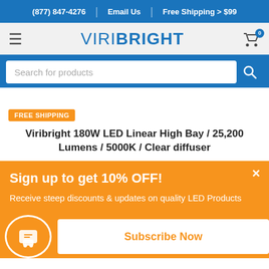(877) 847-4276 | Email Us | Free Shipping > $99
[Figure (logo): ViriBRIGHT logo with hamburger menu and shopping cart icon]
Search for products
FREE SHIPPING
Viribright 180W LED Linear High Bay / 25,200 Lumens / 5000K / Clear diffuser
Sign up to get 10% OFF!
Receive steep discounts & updates on quality LED Products
Subscribe Now